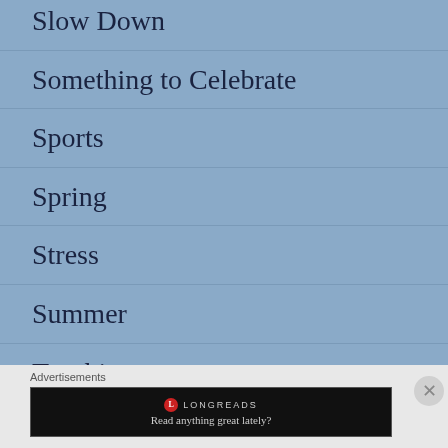Slow Down
Something to Celebrate
Sports
Spring
Stress
Summer
Teaching
Thanksgiving
Advertisements
[Figure (screenshot): Longreads advertisement banner with logo and tagline 'Read anything great lately?' on a black background]